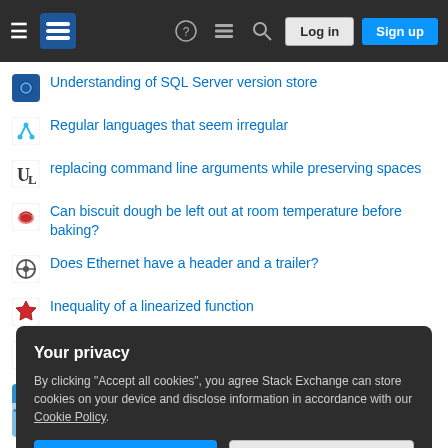Stack Exchange navigation bar with Log in and Sign up buttons
Understanding of SQL Server version store
Regular languages that seem irregular
replacing command line arguments while preserving spaces
Can biscuit dough be left out at room temperature before baking?
Does Ethernet have a header and a trailer?
Inequality of a linearized function
Dethy Mafia: Solved on the first day
Why were ZIP DRAM packages ever considered if PLCC/SOJ sockets were available?
Your privacy
By clicking "Accept all cookies", you agree Stack Exchange can store cookies on your device and disclose information in accordance with our Cookie Policy.
Accept all cookies   Customize settings
If I wanted to slow down someone's aging by a factor of 100, could I put them on a sufficiently fast Ferris wheel?